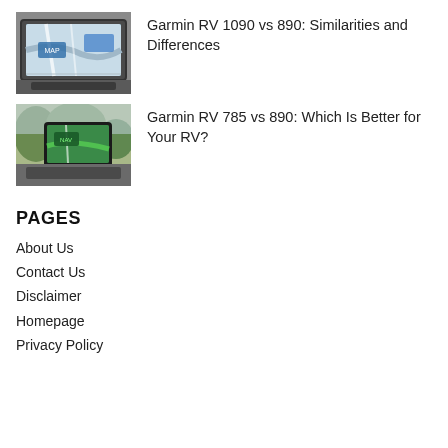[Figure (photo): Garmin RV GPS device mounted in vehicle dashboard showing map navigation]
Garmin RV 1090 vs 890: Similarities and Differences
[Figure (photo): Garmin RV GPS device mounted in vehicle showing navigation screen with green route]
Garmin RV 785 vs 890: Which Is Better for Your RV?
PAGES
About Us
Contact Us
Disclaimer
Homepage
Privacy Policy